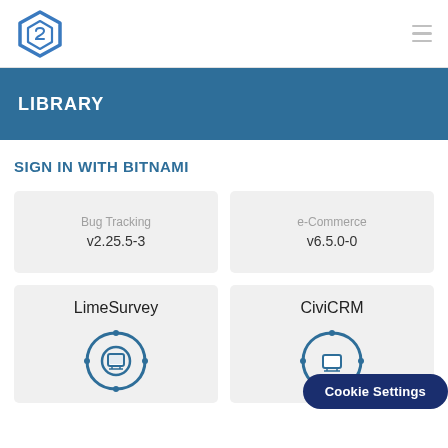[Figure (logo): Bitnami hexagonal logo in blue outline style]
LIBRARY
SIGN IN WITH BITNAMI
Bug Tracking v2.25.5-3
e-Commerce v6.5.0-0
LimeSurvey
CiviCRM
Cookie Settings